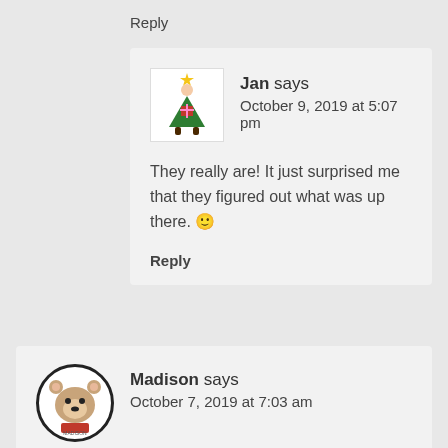Reply
[Figure (illustration): Avatar of Jan: illustrated figure of a person dressed as a Christmas tree in a green costume with a star on top and red boots.]
Jan says
October 9, 2019 at 5:07 pm
They really are! It just surprised me that they figured out what was up there. 🙂
Reply
[Figure (illustration): Avatar of Madison: illustrated figure of a cartoon bear or character dressed in a red outfit inside a circular black-bordered frame with text at the bottom.]
Madison says
October 7, 2019 at 7:03 am